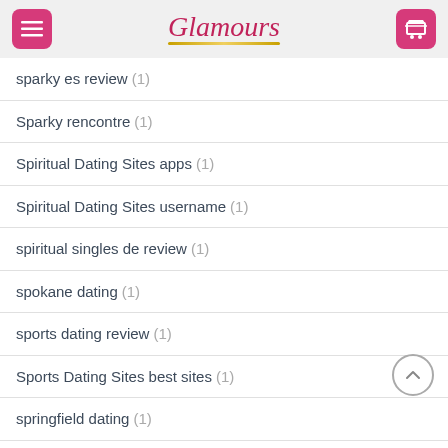Glamours
sparky es review (1)
Sparky rencontre (1)
Spiritual Dating Sites apps (1)
Spiritual Dating Sites username (1)
spiritual singles de review (1)
spokane dating (1)
sports dating review (1)
Sports Dating Sites best sites (1)
springfield dating (1)
Squamish+Canada read more (1)